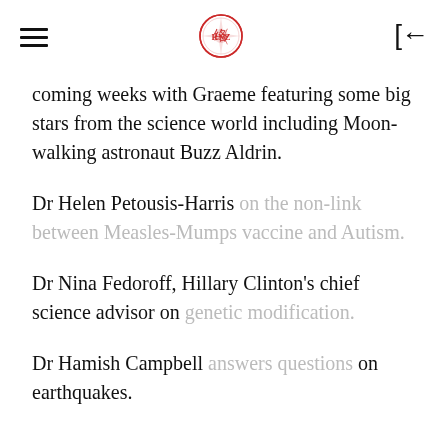[hamburger menu] [logo] [back button]
coming weeks with Graeme featuring some big stars from the science world including Moon-walking astronaut Buzz Aldrin.
Dr Helen Petousis-Harris on the non-link between Measles-Mumps vaccine and Autism.
Dr Nina Fedoroff, Hillary Clinton's chief science advisor on genetic modification.
Dr Hamish Campbell answers questions on earthquakes.